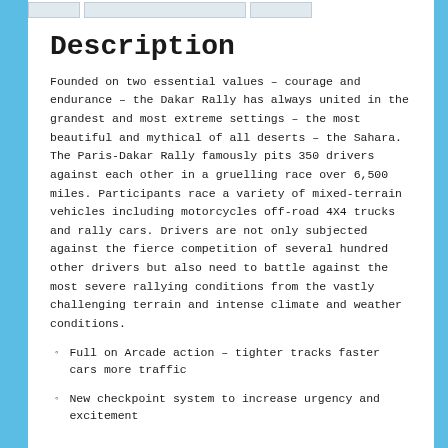Description
Founded on two essential values – courage and endurance – the Dakar Rally has always united in the grandest and most extreme settings – the most beautiful and mythical of all deserts – the Sahara. The Paris-Dakar Rally famously pits 350 drivers against each other in a gruelling race over 6,500 miles. Participants race a variety of mixed-terrain vehicles including motorcycles off-road 4X4 trucks and rally cars. Drivers are not only subjected against the fierce competition of several hundred other drivers but also need to battle against the most severe rallying conditions from the vastly challenging terrain and intense climate and weather conditions.
Full on Arcade action – tighter tracks faster cars more traffic
New checkpoint system to increase urgency and excitement